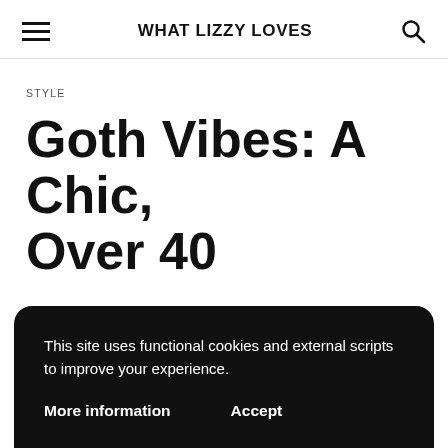WHAT LIZZY LOVES
STYLE
Goth Vibes: A Chic, Over 40
This site uses functional cookies and external scripts to improve your experience.
More information    Accept